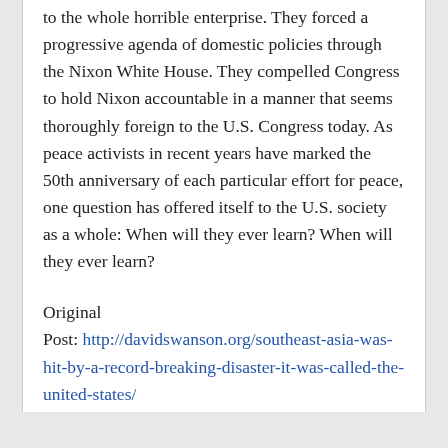to the whole horrible enterprise. They forced a progressive agenda of domestic policies through the Nixon White House. They compelled Congress to hold Nixon accountable in a manner that seems thoroughly foreign to the U.S. Congress today. As peace activists in recent years have marked the 50th anniversary of each particular effort for peace, one question has offered itself to the U.S. society as a whole: When will they ever learn? When will they ever learn?
Original Post: http://davidswanson.org/southeast-asia-was-hit-by-a-record-breaking-disaster-it-was-called-the-united-states/